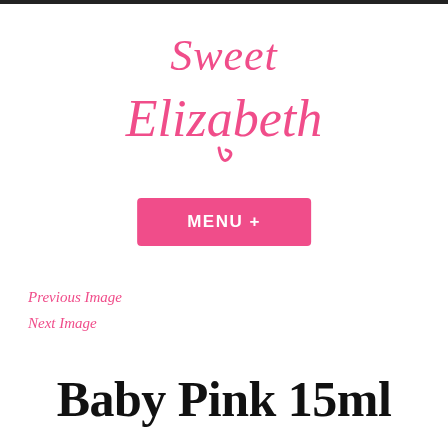[Figure (logo): Sweet Elizabeth brand logo in pink decorative script font]
MENU +
Previous Image
Next Image
Baby Pink 15ml